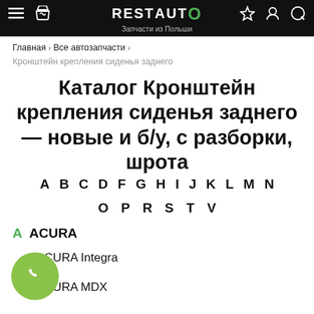RESTAUTO — Запчасти из Польши
Главная > Все автозапчасти > Кронштейн крепления сиденья заднего
Каталог Кронштейн крепления сиденья заднего — новые и б/у, с разборки, шрота
A B C D F G H I J K L M N O P R S T V
A  ACURA
ACURA Integra
ACURA MDX